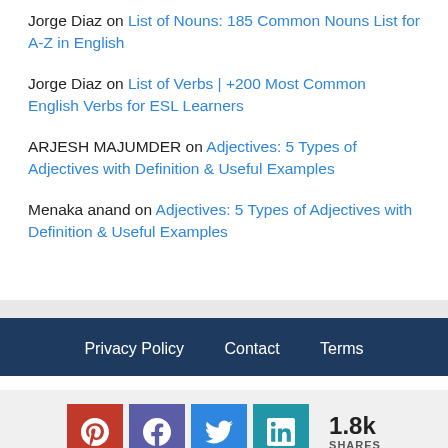Jorge Diaz on List of Nouns: 185 Common Nouns List for A-Z in English
Jorge Diaz on List of Verbs | +200 Most Common English Verbs for ESL Learners
ARJESH MAJUMDER on Adjectives: 5 Types of Adjectives with Definition & Useful Examples
Menaka anand on Adjectives: 5 Types of Adjectives with Definition & Useful Examples
Privacy Policy   Contact   Terms
1.8k SHARES